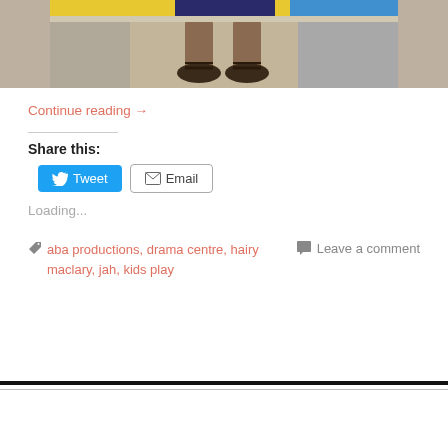[Figure (photo): Partial photo showing legs and sandaled feet of a person seated, with a yellow and blue background visible.]
Continue reading →
Share this:
Tweet  Email
Loading...
aba productions, drama centre, hairy maclary, jah, kids play
Leave a comment